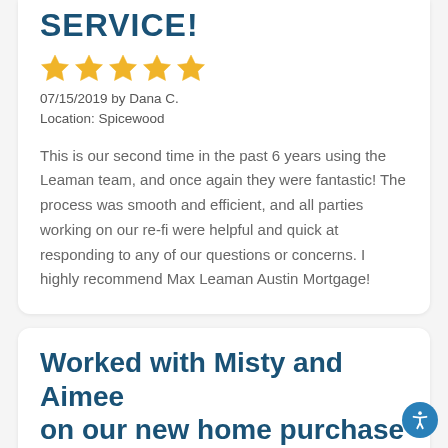SERVICE!
[Figure (illustration): Five gold/yellow star rating icons]
07/15/2019 by Dana C.
Location: Spicewood
This is our second time in the past 6 years using the Leaman team, and once again they were fantastic! The process was smooth and efficient, and all parties working on our re-fi were helpful and quick at responding to any of our questions or concerns. I highly recommend Max Leaman Austin Mortgage!
Worked with Misty and Aimee on our new home purchase in